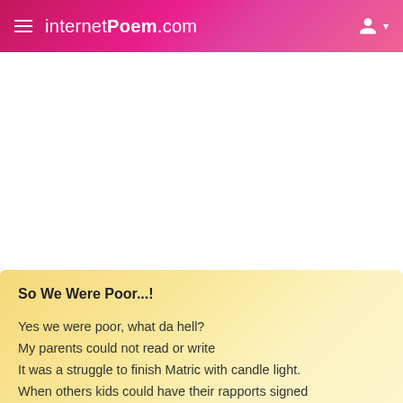internet Poem .com
[Figure (other): White advertisement/blank area below the header navigation bar]
So We Were Poor...!
Yes we were poor, what da hell?
My parents could not read or write
It was a struggle to finish Matric with candle light.
When others kids could have their rapports signed